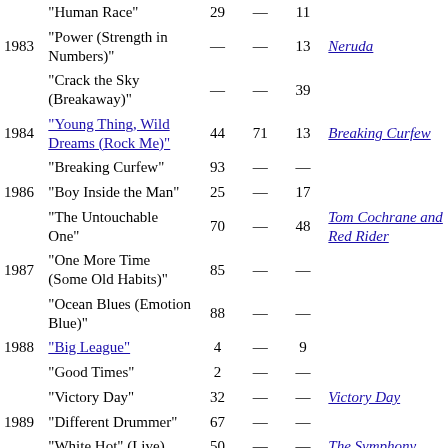| Year | Song | Col1 | Col2 | Col3 | Album |
| --- | --- | --- | --- | --- | --- |
|  | "Human Race" | 29 | — | 11 |  |
| 1983 | "Power (Strength in Numbers)" | — | — | 13 | Neruda |
|  | "Crack the Sky (Breakaway)" | — | — | 39 |  |
| 1984 | "Young Thing, Wild Dreams (Rock Me)" | 44 | 71 | 13 | Breaking Curfew |
|  | "Breaking Curfew" | 93 | — | — |  |
| 1986 | "Boy Inside the Man" | 25 | — | 17 |  |
|  | "The Untouchable One" | 70 | — | 48 | Tom Cochrane and Red Rider |
| 1987 | "One More Time (Some Old Habits)" | 85 | — | — |  |
|  | "Ocean Blues (Emotion Blue)" | 88 | — | — |  |
| 1988 | "Big League" | 4 | — | 9 |  |
|  | "Good Times" | 2 | — | — |  |
|  | "Victory Day" | 32 | — | — | Victory Day |
| 1989 | "Different Drummer" | 67 | — | — |  |
|  | "White Hot" (Live) | 50 | — | — | The Symphony... |